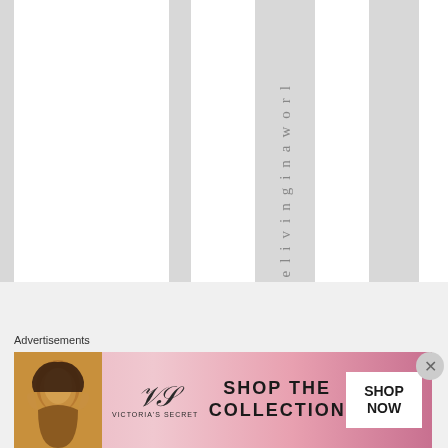[Figure (other): Webpage layout with alternating white and gray vertical columns, with vertical text reading 'likelivinginaworl' running down one of the gray columns]
Advertisements
[Figure (other): Victoria's Secret advertisement banner featuring a model, the VS logo, text 'SHOP THE COLLECTION', and a 'SHOP NOW' button]